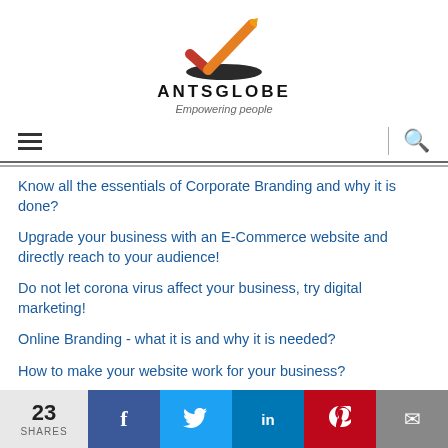[Figure (logo): AntsGlobe logo with orange and red checkmark above a dark oval, with brand name ANTSGLOBE in bold and tagline 'Empowering people' in italic below]
Know all the essentials of Corporate Branding and why it is done?
Upgrade your business with an E-Commerce website and directly reach to your audience!
Do not let corona virus affect your business, try digital marketing!
Online Branding - what it is and why it is needed?
How to make your website work for your business?
Why blogging has revolutionized as a commercial need for customers?
23 SHARES | Facebook | Twitter | LinkedIn | Pinterest | Email